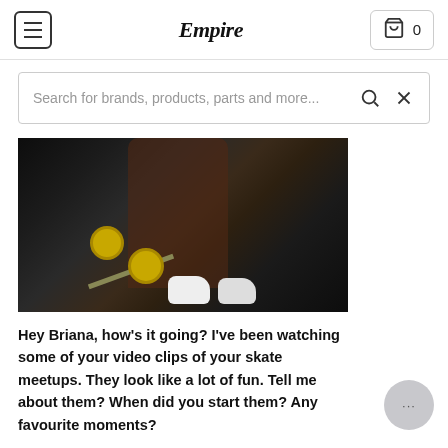Empire — menu, logo, cart 0
Search for brands, products, parts and more...
[Figure (photo): Person sitting with a skateboard holding it, wearing white sneakers, dark background near a vehicle]
Hey Briana, how's it going? I've been watching some of your video clips of your skate meetups. They look like a lot of fun. Tell me about them? When did you start them? Any favourite moments?